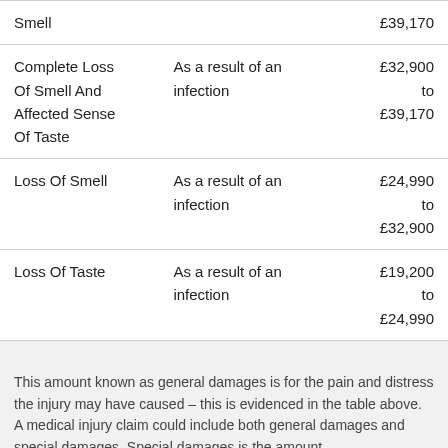| Injury | Cause | Amount |
| --- | --- | --- |
| Smell |  | £39,170 |
| Complete Loss Of Smell And Affected Sense Of Taste | As a result of an infection | £32,900 to £39,170 |
| Loss Of Smell | As a result of an infection | £24,990 to £32,900 |
| Loss Of Taste | As a result of an infection | £19,200 to £24,990 |
This amount known as general damages is for the pain and distress the injury may have caused – this is evidenced in the table above. A medical injury claim could include both general damages and special damages. Special damages is the amount